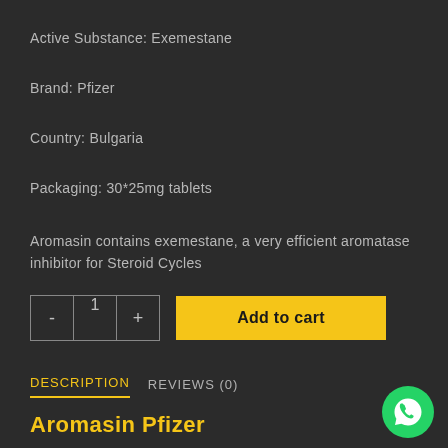Active Substance: Exemestane
Brand: Pfizer
Country: Bulgaria
Packaging: 30*25mg tablets
Aromasin contains exemestane, a very efficient aromatase inhibitor for Steroid Cycles
- 1 +  Add to cart
DESCRIPTION  REVIEWS (0)
Aromasin Pfizer